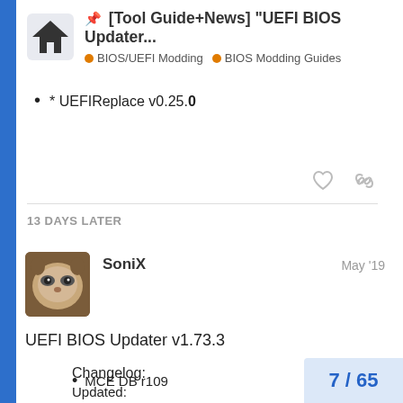[Tool Guide+News] "UEFI BIOS Updater... | BIOS/UEFI Modding | BIOS Modding Guides
* UEFIReplace v0.25.0
13 DAYS LATER
SoniX — May '19
UEFI BIOS Updater v1.73.3
Changelog:
Updated:
MCE DB r109
7 / 65